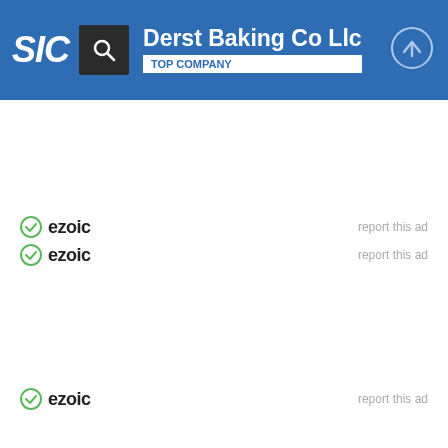SIC | Derst Baking Co Llc | TOP COMPANY
[Figure (logo): Ezoic logo with green checkmark circle icon, first instance with 'report this ad' link]
[Figure (logo): Ezoic logo with green checkmark circle icon, second instance with 'report this ad' link]
[Figure (logo): Ezoic logo with green checkmark circle icon, third instance with 'report this ad' link]